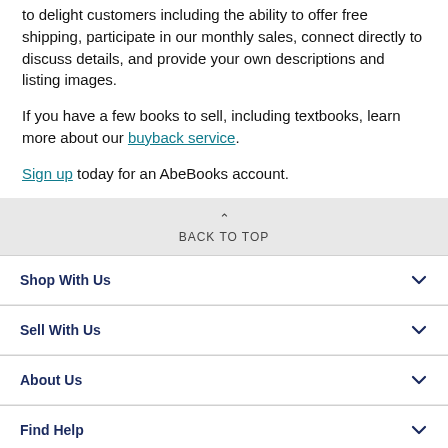to delight customers including the ability to offer free shipping, participate in our monthly sales, connect directly to discuss details, and provide your own descriptions and listing images.
If you have a few books to sell, including textbooks, learn more about our buyback service.
Sign up today for an AbeBooks account.
BACK TO TOP
Shop With Us
Sell With Us
About Us
Find Help